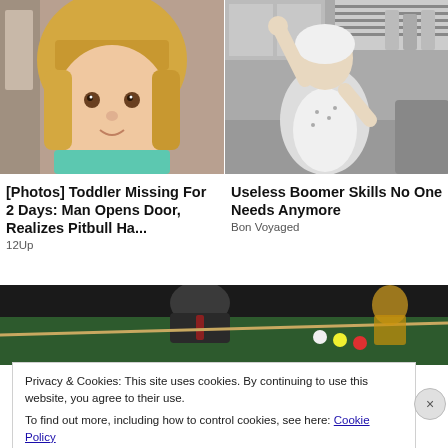[Figure (photo): Photo of a young toddler girl with blonde hair wearing a teal shirt, looking at the camera]
[Figure (photo): Black and white vintage photo of a woman in a kitchen wearing an apron, looking distressed]
[Photos] Toddler Missing For 2 Days: Man Opens Door, Realizes Pitbull Ha...
12Up
Useless Boomer Skills No One Needs Anymore
Bon Voyaged
[Figure (photo): Color photo of a man at a pool/billiards table, dark background with green felt visible]
Privacy & Cookies: This site uses cookies. By continuing to use this website, you agree to their use.
To find out more, including how to control cookies, see here: Cookie Policy